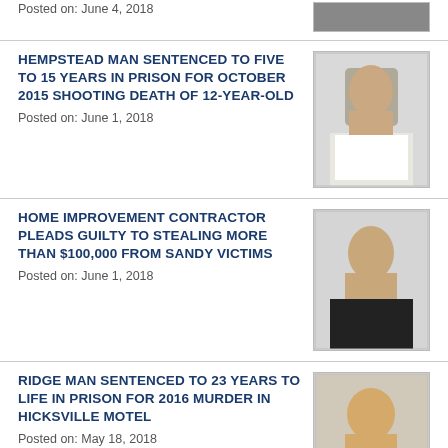Posted on: June 4, 2018
HEMPSTEAD MAN SENTENCED TO FIVE TO 15 YEARS IN PRISON FOR OCTOBER 2015 SHOOTING DEATH OF 12-YEAR-OLD
Posted on: June 1, 2018
HOME IMPROVEMENT CONTRACTOR PLEADS GUILTY TO STEALING MORE THAN $100,000 FROM SANDY VICTIMS
Posted on: June 1, 2018
RIDGE MAN SENTENCED TO 23 YEARS TO LIFE IN PRISON FOR 2016 MURDER IN HICKSVILLE MOTEL
Posted on: May 18, 2018
SERIAL RAPIST SENTENCED TO PRISON FOR POSSESSING CHILD PORNOGRAPHY AND PUBLIC LEWDNESS
Posted on: May 17, 2018